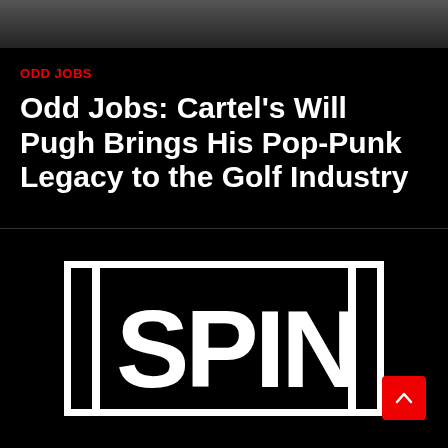[Figure (photo): Partial top strip of a photo, likely outdoor/people scene, very cropped]
ODD JOBS
Odd Jobs: Cartel’s Will Pugh Brings His Pop-Punk Legacy to the Golf Industry
[Figure (logo): SPIN magazine logo — white block letters spelling SPIN inside a white rectangular border, on a black background]